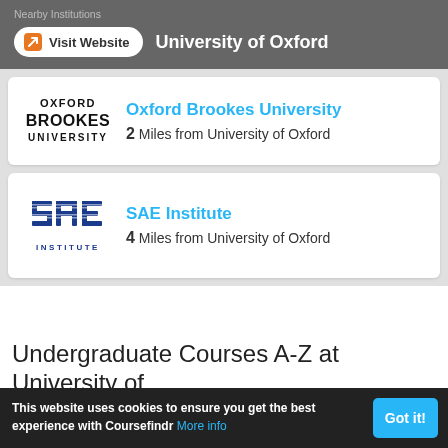Nearby Institutions
Visit Website  University of Oxford
[Figure (logo): Oxford Brookes University logo — black serif text]
Oxford Brookes University
2 Miles from University of Oxford
[Figure (logo): SAE Institute logo — blue stylized letters and INSTITUTE text]
SAE Institute
4 Miles from University of Oxford
Undergraduate Courses A-Z at University of Oxford
This website uses cookies to ensure you get the best experience with Coursefindr More info